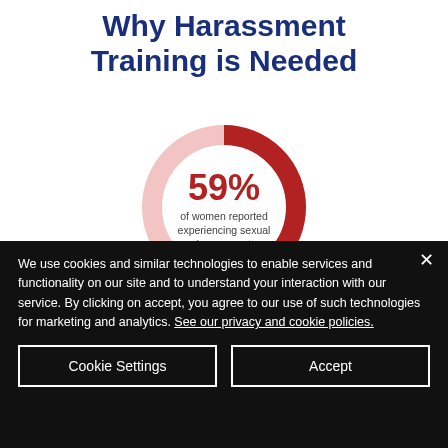Why Harassment Training is Needed
[Figure (donut-chart): 59% of women reported experiencing sexual harassment]
We use cookies and similar technologies to enable services and functionality on our site and to understand your interaction with our service. By clicking on accept, you agree to our use of such technologies for marketing and analytics. See our privacy and cookie policies.
Cookie Settings
Accept